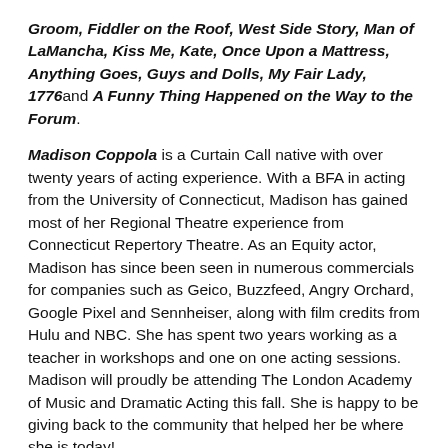Groom, Fiddler on the Roof, West Side Story, Man of LaMancha, Kiss Me, Kate, Once Upon a Mattress, Anything Goes, Guys and Dolls, My Fair Lady, 1776 and A Funny Thing Happened on the Way to the Forum.
Madison Coppola is a Curtain Call native with over twenty years of acting experience. With a BFA in acting from the University of Connecticut, Madison has gained most of her Regional Theatre experience from Connecticut Repertory Theatre. As an Equity actor, Madison has since been seen in numerous commercials for companies such as Geico, Buzzfeed, Angry Orchard, Google Pixel and Sennheiser, along with film credits from Hulu and NBC. She has spent two years working as a teacher in workshops and one on one acting sessions. Madison will proudly be attending The London Academy of Music and Dramatic Acting this fall. She is happy to be giving back to the community that helped her be where she is today!
Grady Dennis is a native of Sumter, South Carolina. Grady began studying theater and performing at the age of six